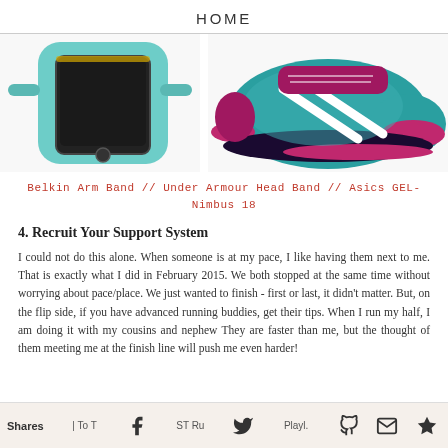HOME
[Figure (photo): Two product photos side by side: left shows a teal/mint colored Belkin arm band phone case for iPhone; right shows a teal and pink/magenta Asics GEL-Nimbus 18 running shoe.]
Belkin Arm Band // Under Armour Head Band // Asics GEL-Nimbus 18
4. Recruit Your Support System
I could not do this alone. When someone is at my pace, I like having them next to me. That is exactly what I did in February 2015. We both stopped at the same time without worrying about pace/place. We just wanted to finish - first or last, it didn't matter. But, on the flip side, if you have advanced running buddies, get their tips. When I run my half, I am doing it with my cousins and nephew They are faster than me, but the thought of them meeting me at the finish line will push me even harder!
Shares | To T | ST Ru | Playl.